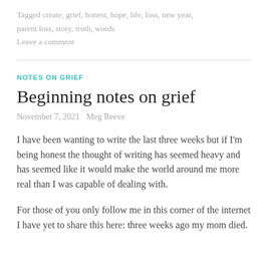Tagged create, grief, honest, hope, life, loss, new year, parent loss, story, truth, words
Leave a comment
NOTES ON GRIEF
Beginning notes on grief
November 7, 2021   Meg Reeve
I have been wanting to write the last three weeks but if I'm being honest the thought of writing has seemed heavy and has seemed like it would make the world around me more real than I was capable of dealing with.
For those of you only follow me in this corner of the internet I have yet to share this here: three weeks ago my mom died.